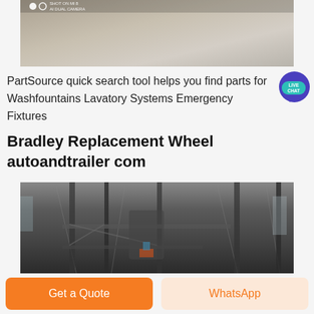[Figure (photo): Top photo showing sandy/dusty surface with 'SHOT ON MI 8 AI DUAL CAMERA' watermark overlay in top-left corner with two circles (one filled, one outlined).]
PartSource quick search tool helps you find parts for Washfountains Lavatory Systems Emergency Fixtures
[Figure (other): Live Chat badge — dark purple circle with speech bubble and teal oval containing 'LIVE CHAT' text.]
Bradley Replacement Wheel autoandtrailer com
[Figure (photo): Industrial interior showing a large multi-story steel frame structure inside a warehouse or factory building, with scaffolding, beams, and industrial equipment visible.]
Get a Quote
WhatsApp